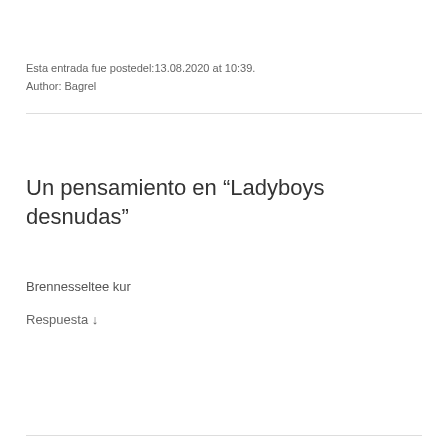Esta entrada fue postedel:13.08.2020 at 10:39.
Author: Bagrel
Un pensamiento en “Ladyboys desnudas”
Brennesseltee kur
Respuesta ↓